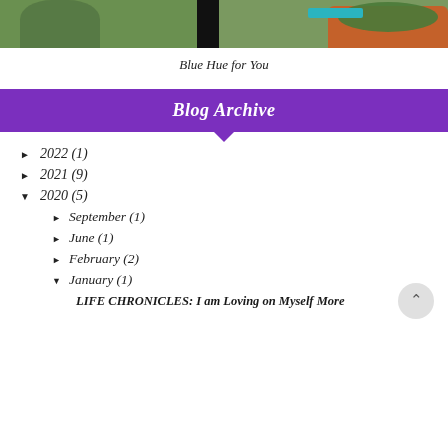[Figure (photo): Bottom portion of a photo showing a person in dark clothing, greenery/bushes on the left, a terracotta planter with plants on the right, and a teal/blue railing in the background.]
Blue Hue for You
Blog Archive
► 2022 (1)
► 2021 (9)
▼ 2020 (5)
► September (1)
► June (1)
► February (2)
▼ January (1)
LIFE CHRONICLES: I am Loving on Myself More